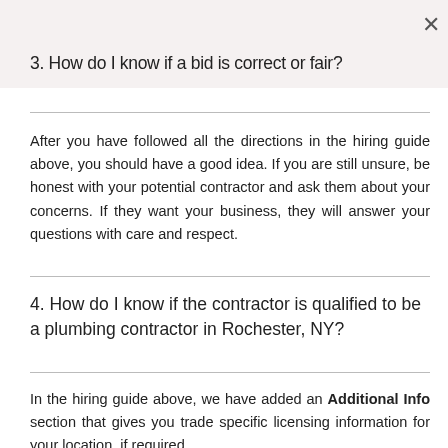3. How do I know if a bid is correct or fair?
After you have followed all the directions in the hiring guide above, you should have a good idea. If you are still unsure, be honest with your potential contractor and ask them about your concerns. If they want your business, they will answer your questions with care and respect.
4. How do I know if the contractor is qualified to be a plumbing contractor in Rochester, NY?
In the hiring guide above, we have added an Additional Info section that gives you trade specific licensing information for your location, if required.